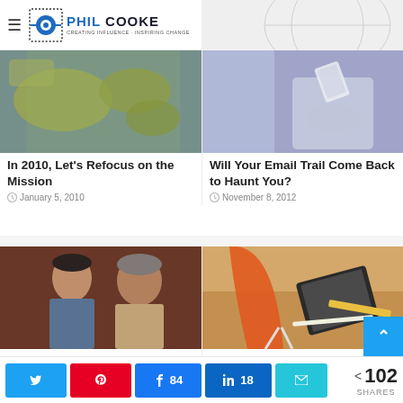[Figure (logo): Phil Cooke logo with hamburger menu - Creating Influence, Inspiring Change]
[Figure (photo): World map on wall with travel items]
In 2010, Let's Refocus on the Mission
January 5, 2010
[Figure (photo): Person holding a tablet/book]
Will Your Email Trail Come Back to Haunt You?
November 8, 2012
[Figure (photo): Two men posing for photo - professional headshot]
Be Cautious When Hiring Your Family
October 16, 2014
[Figure (photo): Orange chair and notebooks on wooden desk]
The Greatest Secret for Breakthrough Creativity
April 22, 2015
Share buttons: Twitter, Pinterest, Facebook 84, LinkedIn 18, Email. 102 SHARES